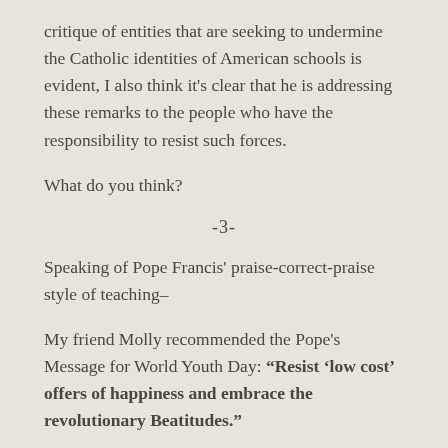critique of entities that are seeking to undermine the Catholic identities of American schools is evident, I also think it's clear that he is addressing these remarks to the people who have the responsibility to resist such forces.
What do you think?
-3-
Speaking of Pope Francis' praise-correct-praise style of teaching–
My friend Molly recommended the Pope's Message for World Youth Day: “Resist ‘low cost’ offers of happiness and embrace the revolutionary Beatitudes.”
You should really read this address. It is beautiful and